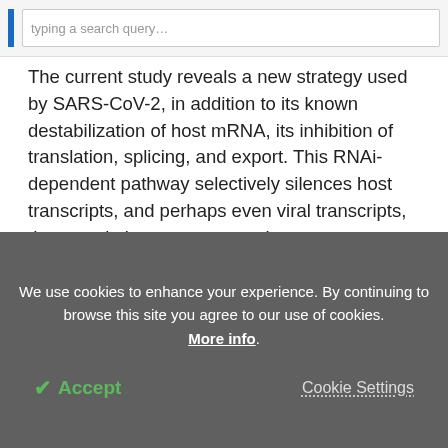[search bar / navigation]
The current study reveals a new strategy used by SARS-CoV-2, in addition to its known destabilization of host mRNA, its inhibition of translation, splicing, and export. This RNAi-dependent pathway selectively silences host transcripts, and perhaps even viral transcripts, thus regulating gene expression as necessary for optimal viral replication.
*Important notice
We use cookies to enhance your experience. By continuing to browse this site you agree to our use of cookies. More info.